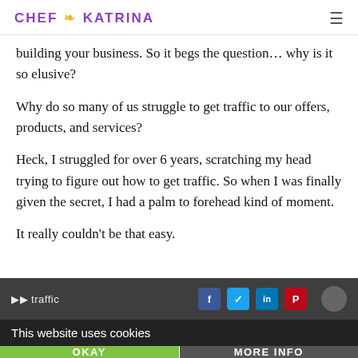CHEF K KATRINA
building your business. So it begs the question… why is it so elusive?
Why do so many of us struggle to get traffic to our offers, products, and services?
Heck, I struggled for over 6 years, scratching my head trying to figure out how to get traffic. So when I was finally given the secret, I had a palm to forehead kind of moment.
It really couldn't be that easy.
This website uses cookies
OKAY
MORE INFO